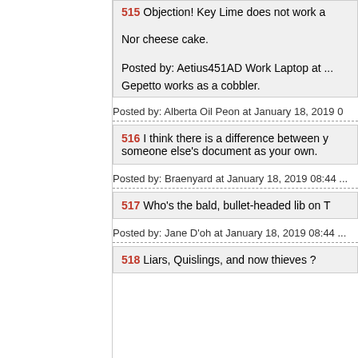515 Objection! Key Lime does not work a...
Nor cheese cake.
Posted by: Aetius451AD Work Laptop at ...
Gepetto works as a cobbler.
Posted by: Alberta Oil Peon at January 18, 2019 0...
516 I think there is a difference between y... someone else's document as your own.
Posted by: Braenyard at January 18, 2019 08:44 ...
517 Who's the bald, bullet-headed lib on T...
Posted by: Jane D'oh at January 18, 2019 08:44 ...
518 Liars, Quislings, and now thieves ?